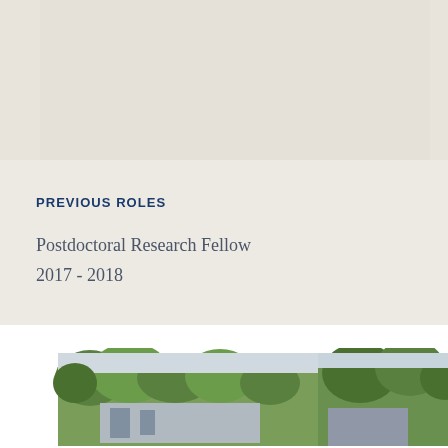[Figure (other): Beige/cream diagonal background panel at top of page]
PREVIOUS ROLES
Postdoctoral Research Fellow
2017 - 2018
[Figure (photo): Outdoor photograph showing trees and a building, split into two visible sections at the bottom of the page]